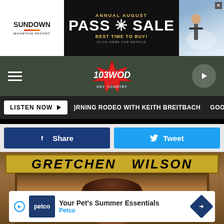[Figure (screenshot): Sundown Mountain Resort banner ad with 'ANNUAL AUGUST PASS SALE - BEST TIME TO BUY! CLICK HERE FOR DETAILS' and skier image]
[Figure (logo): 103 WOOD Key Country radio station logo - star shaped logo with text]
LISTEN NOW ▶  )RNING RODEO WITH KEITH BREITBACH  GOOD M
[Figure (screenshot): Share and Tweet social media buttons]
[Figure (photo): Gretchen Wilson promotional image with name sign]
Your Pet's Summer Essentials
Petco